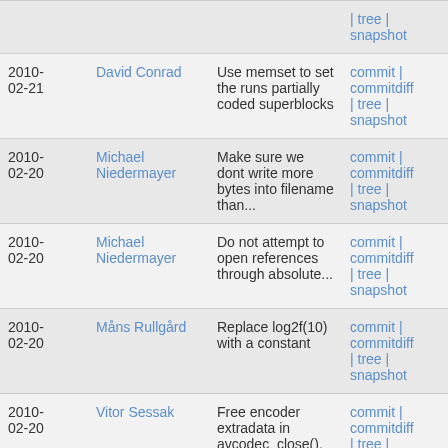| Date | Author | Message | Links |
| --- | --- | --- | --- |
|  |  |  | | tree | snapshot |
| 2010-02-21 | David Conrad | Use memset to set the runs partially coded superblocks | commit | commitdiff | tree | snapshot |
| 2010-02-20 | Michael Niedermayer | Make sure we dont write more bytes into filename than... | commit | commitdiff | tree | snapshot |
| 2010-02-20 | Michael Niedermayer | Do not attempt to open references through absolute... | commit | commitdiff | tree | snapshot |
| 2010-02-20 | Måns Rullgård | Replace log2f(10) with a constant | commit | commitdiff | tree | snapshot |
| 2010-02-20 | Vitor Sessak | Free encoder extradata in avcodec_close(). Should fix... | commit | commitdiff | tree | snapshot |